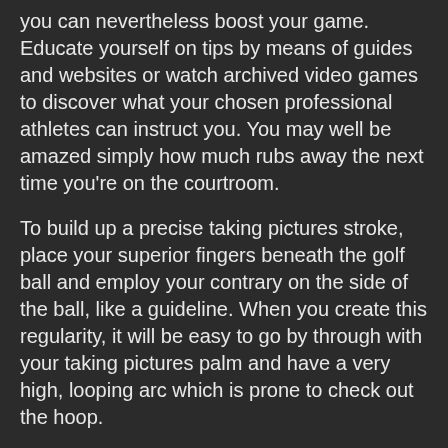you can nevertheless boost your game. Educate yourself on tips by means of guides and websites or watch archived video games to discover what your chosen professional athletes can instruct you. You may well be amazed simply how much rubs away the next time you're on the courtroom.
To build up a precise taking pictures stroke, place your superior fingers beneath the golf ball and employ your contrary on the side of the ball, like a guideline. When you create this regularity, it will be easy to go by through with your taking pictures palm and have a very high, looping arc which is prone to check out the hoop.
Discover how to handle the golf ball if you want to modify your speed abruptly. If your can easily grow your toes and after that rapidly dribble the soccer ball while traveling, you gain a specific advantage over your rival. Should your defenders think you are reducing to create a shot, they are going to straighten up in order to prohibit it.